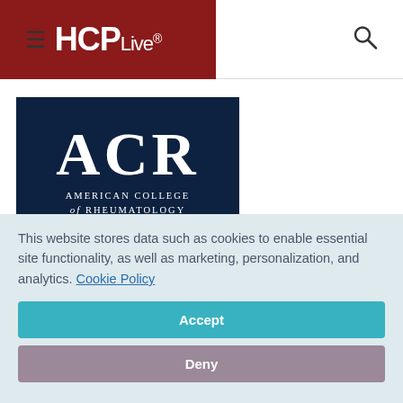HCPLive® — navigation header with hamburger menu and search icon
[Figure (logo): ACR American College of Rheumatology logo on dark navy background]
This website stores data such as cookies to enable essential site functionality, as well as marketing, personalization, and analytics. Cookie Policy
Accept
Deny